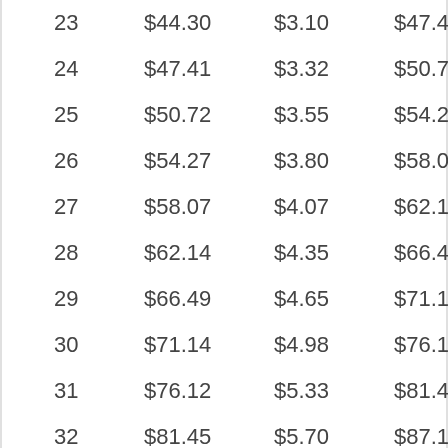| 23 | $44.30 | $3.10 | $47.41 |
| 24 | $47.41 | $3.32 | $50.72 |
| 25 | $50.72 | $3.55 | $54.27 |
| 26 | $54.27 | $3.80 | $58.07 |
| 27 | $58.07 | $4.07 | $62.14 |
| 28 | $62.14 | $4.35 | $66.49 |
| 29 | $66.49 | $4.65 | $71.14 |
| 30 | $71.14 | $4.98 | $76.12 |
| 31 | $76.12 | $5.33 | $81.45 |
| 32 | $81.45 | $5.70 | $87.15 |
| 33 | $87.15 | $6.10 | $93.25 |